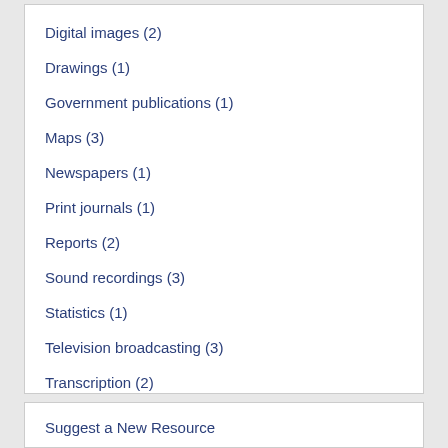Digital images (2)
Drawings (1)
Government publications (1)
Maps (3)
Newspapers (1)
Print journals (1)
Reports (2)
Sound recordings (3)
Statistics (1)
Television broadcasting (3)
Transcription (2)
Web sites (1)
Suggest a New Resource